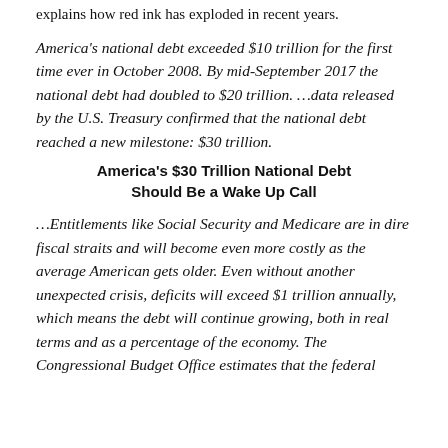explains how red ink has exploded in recent years.
America's national debt exceeded $10 trillion for the first time ever in October 2008. By mid-September 2017 the national debt had doubled to $20 trillion. …data released by the U.S. Treasury confirmed that the national debt reached a new milestone: $30 trillion.
America's $30 Trillion National Debt Should Be a Wake Up Call
…Entitlements like Social Security and Medicare are in dire fiscal straits and will become even more costly as the average American gets older. Even without another unexpected crisis, deficits will exceed $1 trillion annually, which means the debt will continue growing, both in real terms and as a percentage of the economy. The Congressional Budget Office estimates that the federal